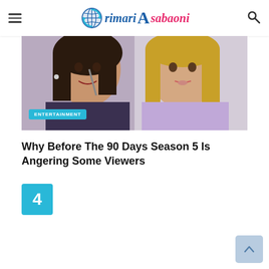rimari Asabaoni
[Figure (photo): Two women, one with dark hair holding a utensil near her mouth, another with blonde hair in a light purple top, with an ENTERTAINMENT badge overlaid in the bottom-left corner]
Why Before The 90 Days Season 5 Is Angering Some Viewers
4